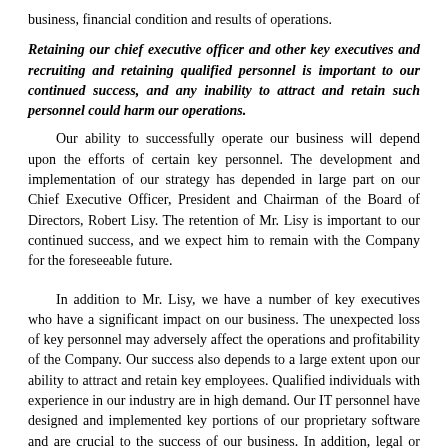business, financial condition and results of operations.
Retaining our chief executive officer and other key executives and recruiting and retaining qualified personnel is important to our continued success, and any inability to attract and retain such personnel could harm our operations.
Our ability to successfully operate our business will depend upon the efforts of certain key personnel. The development and implementation of our strategy has depended in large part on our Chief Executive Officer, President and Chairman of the Board of Directors, Robert Lisy. The retention of Mr. Lisy is important to our continued success, and we expect him to remain with the Company for the foreseeable future.
In addition to Mr. Lisy, we have a number of key executives who have a significant impact on our business. The unexpected loss of key personnel may adversely affect the operations and profitability of the Company. Our success also depends to a large extent upon our ability to attract and retain key employees. Qualified individuals with experience in our industry are in high demand. Our IT personnel have designed and implemented key portions of our proprietary software and are crucial to the success of our business. In addition, legal or enforcement actions against compliance and other personnel in the money remittance industry may affect our ability to attract and retain key employees and directors. The lack of management continuity or the loss of one or more members of our executive management team could harm our business and future development. A failure to recruit and retain key personnel including